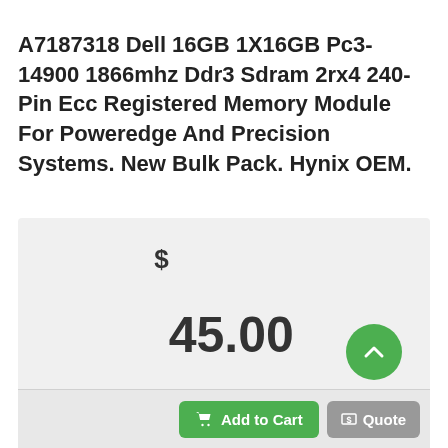A7187318 Dell 16GB 1X16GB Pc3-14900 1866mhz Ddr3 Sdram 2rx4 240-Pin Ecc Registered Memory Module For Poweredge And Precision Systems. New Bulk Pack. Hynix OEM.
$45.00